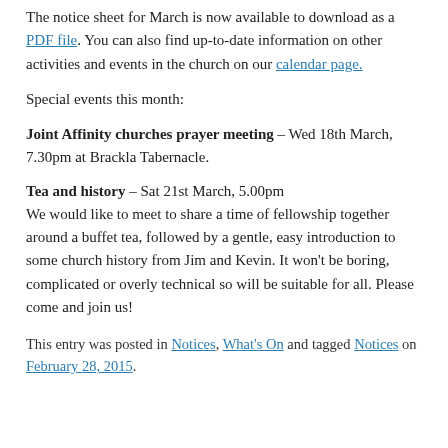The notice sheet for March is now available to download as a PDF file. You can also find up-to-date information on other activities and events in the church on our calendar page.
Special events this month:
Joint Affinity churches prayer meeting – Wed 18th March, 7.30pm at Brackla Tabernacle.
Tea and history – Sat 21st March, 5.00pm
We would like to meet to share a time of fellowship together around a buffet tea, followed by a gentle, easy introduction to some church history from Jim and Kevin. It won't be boring, complicated or overly technical so will be suitable for all. Please come and join us!
This entry was posted in Notices, What's On and tagged Notices on February 28, 2015.